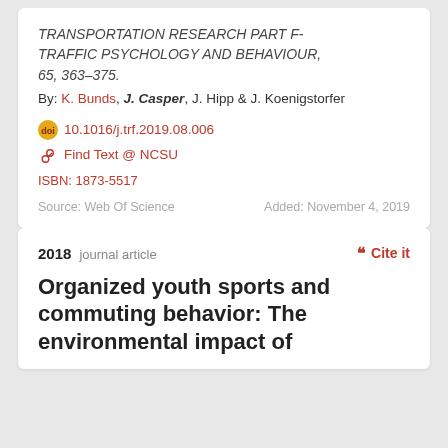TRANSPORTATION RESEARCH PART F-TRAFFIC PSYCHOLOGY AND BEHAVIOUR, 65, 363–375.
By: K. Bunds, J. Casper, J. Hipp & J. Koenigstorfer
10.1016/j.trf.2019.08.006
Find Text @ NCSU
ISBN: 1873-5517
Source: Web Of Science     Added: November 4, 2019
2018 journal article
Cite it
Organized youth sports and commuting behavior: The environmental impact of